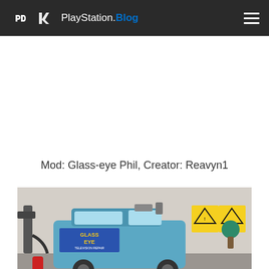PlayStation.Blog
Mod: Glass-eye Phil, Creator: Reavyn1
[Figure (screenshot): Screenshot of a video game mod showing a blue van with 'Glass Eye Television Repair' written on it, inside a garage-like setting with yellow warning signs on the wall.]